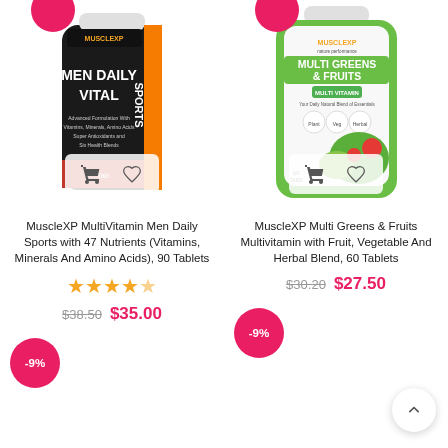[Figure (photo): MuscleXP Men Daily Vital Sports multivitamin supplement bottle, black label with red and white text]
[Figure (photo): MuscleXP Multi Greens & Fruits Multivitamin supplement bottle, green and white label]
MuscleXP MultiVitamin Men Daily Sports with 47 Nutrients (Vitamins, Minerals And Amino Acids), 90 Tablets
MuscleXP Multi Greens & Fruits Multivitamin with Fruit, Vegetable And Herbal Blend, 60 Tablets
$38.50  $35.00
$30.20  $27.50
-9%
-9%